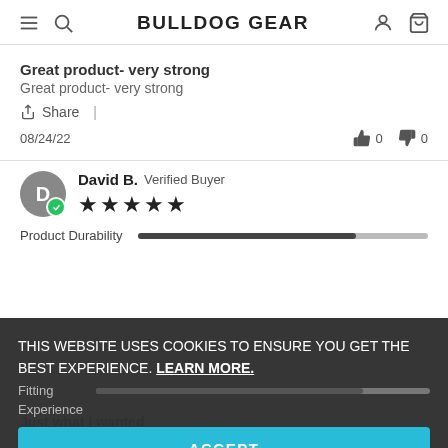BULLDOG GEAR
Great product- very strong
Great product- very strong
Share |
08/24/22  👍 0  👎 0
David B.  Verified Buyer ★★★★★
Product Durability [bar]
THIS WEBSITE USES COOKIES TO ENSURE YOU GET THE BEST EXPERIENCE. LEARN MORE.
ACCEPT
Just what I wanted
Excellent stuff, clearly made to last. Unlike some others. Certainly well worth the money as they are on the expensive